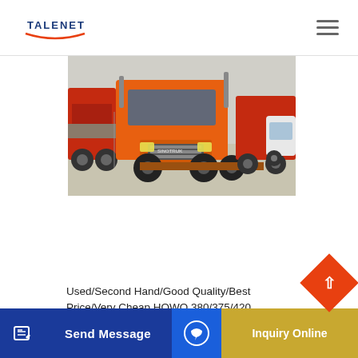TALENET
[Figure (photo): Orange HOWO dump truck photographed in a truck yard with other red trucks in the background]
Used/Second Hand/Good Quality/Best Price/Very Cheap HOWO 380/375/420 Dump Truck/Hot Sale 2020 US $ 10000- Order: HOWO 3/1HP Tipper Truck 6X4 New
Send Message | Inquiry Online